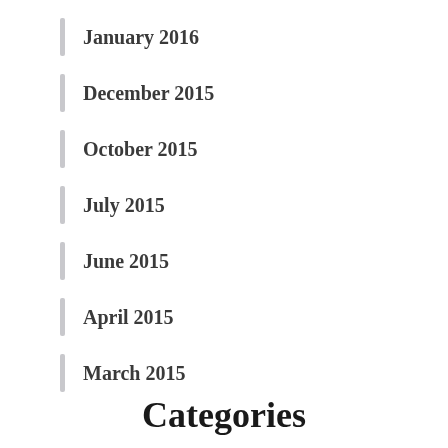January 2016
December 2015
October 2015
July 2015
June 2015
April 2015
March 2015
Categories